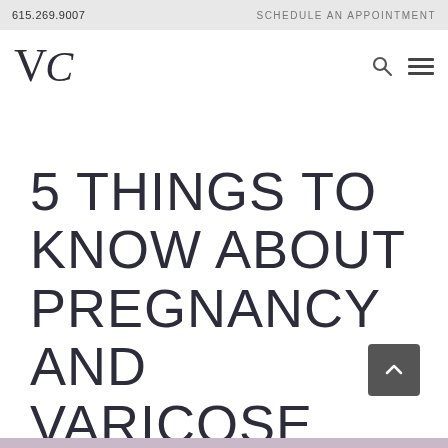615.269.9007   SCHEDULE AN APPOINTMENT
[Figure (logo): VC logo in serif italic font]
5 THINGS TO KNOW ABOUT PREGNANCY AND VARICOSE VEINS